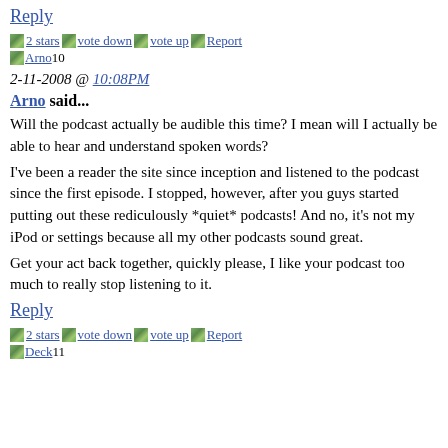Reply
2 stars | vote down | vote up | Report
Arno 10
2-11-2008 @ 10:08PM
Arno said...
Will the podcast actually be audible this time? I mean will I actually be able to hear and understand spoken words?
I've been a reader the site since inception and listened to the podcast since the first episode. I stopped, however, after you guys started putting out these rediculously *quiet* podcasts! And no, it's not my iPod or settings because all my other podcasts sound great.
Get your act back together, quickly please, I like your podcast too much to really stop listening to it.
Reply
2 stars | vote down | vote up | Report
Deck 11